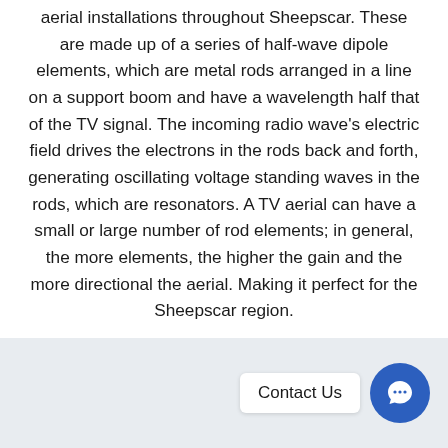aerial installations throughout Sheepscar. These are made up of a series of half-wave dipole elements, which are metal rods arranged in a line on a support boom and have a wavelength half that of the TV signal. The incoming radio wave's electric field drives the electrons in the rods back and forth, generating oscillating voltage standing waves in the rods, which are resonators. A TV aerial can have a small or large number of rod elements; in general, the more elements, the higher the gain and the more directional the aerial. Making it perfect for the Sheepscar region.
Contact Us